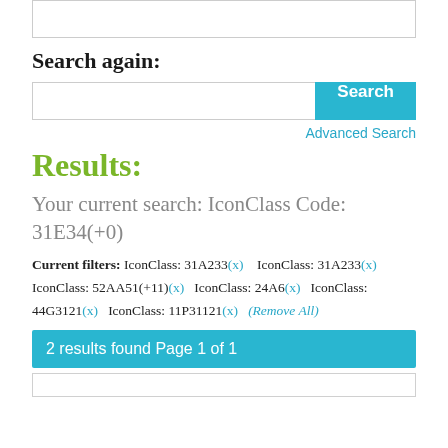Search again:
Search [input box] [Search button]
Advanced Search
Results:
Your current search: IconClass Code: 31E34(+0)
Current filters: IconClass: 31A233(x)   IconClass: 31A233(x)   IconClass: 52AA51(+11)(x)   IconClass: 24A6(x)   IconClass: 44G3121(x)   IconClass: 11P31121(x)   (Remove All)
2 results found Page 1 of 1